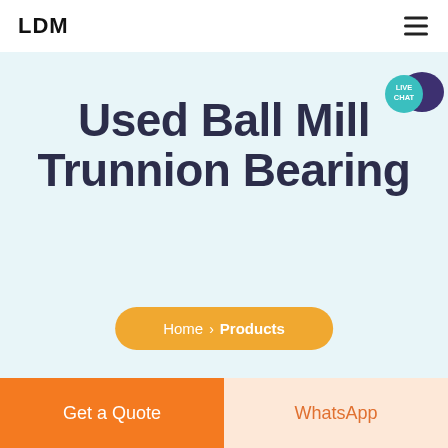LDM
[Figure (screenshot): Live chat bubble icon in teal with speech bubble, labeled LIVE CHAT]
Used Ball Mill Trunnion Bearing
Home > Products
Get a Quote
WhatsApp